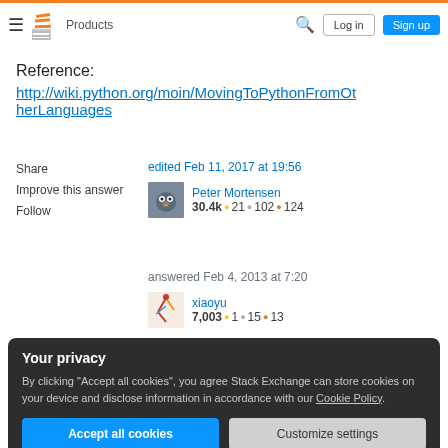Stack Overflow navigation bar with Products, Log in, Sign up
Reference:
http://wiki.python.org/moin/MovingToPythonFromOtherLanguages
Share
Improve this answer
Follow
edited Feb 11, 2017 at 19:56
Peter Mortensen
30.4k • 21 • 102 • 124
answered Feb 4, 2013 at 7:20
xiaoyu
7,003 • 1 • 15 • 13
Your privacy
By clicking "Accept all cookies", you agree Stack Exchange can store cookies on your device and disclose information in accordance with our Cookie Policy.
Accept all cookies
Customize settings